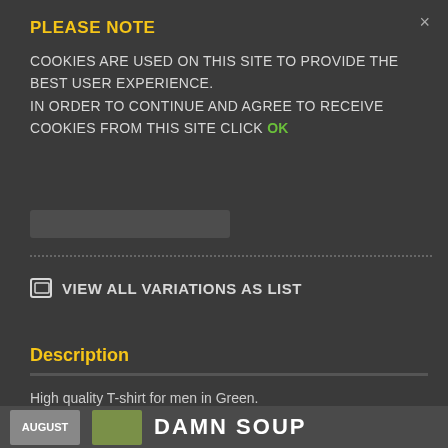PLEASE NOTE
COOKIES ARE USED ON THIS SITE TO PROVIDE THE BEST USER EXPERIENCE. IN ORDER TO CONTINUE AND AGREE TO RECEIVE COOKIES FROM THIS SITE CLICK OK
VIEW ALL VARIATIONS AS LIST
Description
High quality T-shirt for men in Green.
Made out of 100% Cotton
[Figure (screenshot): Bottom banner showing AUGUST, flower image, and DAMN SOUP text]